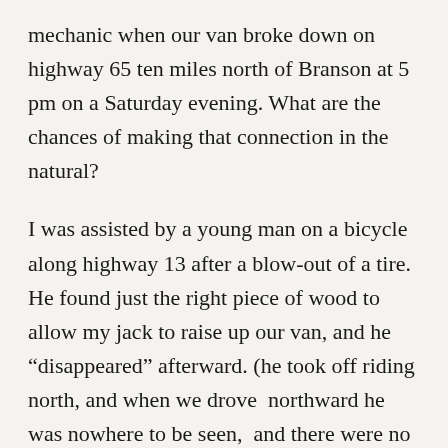mechanic when our van broke down on highway 65 ten miles north of Branson at 5 pm on a Saturday evening. What are the chances of making that connection in the natural?
I was assisted by a young man on a bicycle along highway 13 after a blow-out of a tire. He found just the right piece of wood to allow my jack to raise up our van, and he “disappeared” afterward. (he took off riding north, and when we drove  northward he was nowhere to be seen,  and there were no turn offs!)
I was favored to have the disintegration of the differential in my Triumph GT6+ take place right